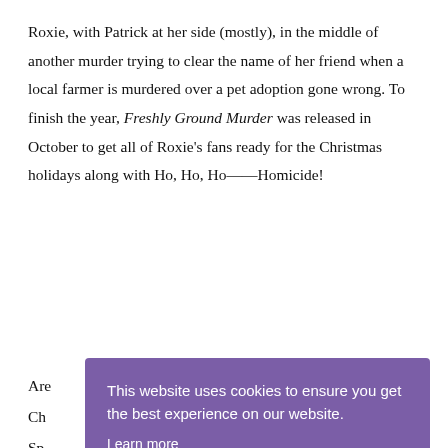Roxie, with Patrick at her side (mostly), in the middle of another murder trying to clear the name of her friend when a local farmer is murdered over a pet adoption gone wrong. To finish the year, Freshly Ground Murder was released in October to get all of Roxie's fans ready for the Christmas holidays along with Ho, Ho, Ho——Homicide!
Are Ch Sp hol arr boa
This website uses cookies to ensure you get the best experience on our website. Learn more Got it